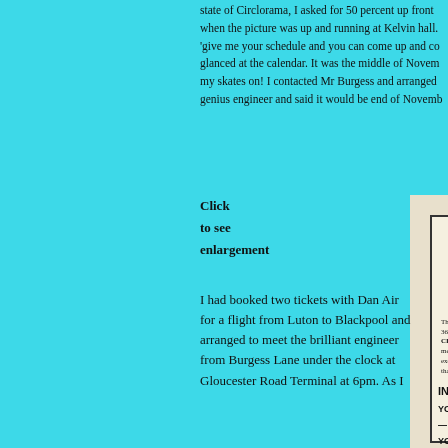state of Circlorama, I asked for 50 percent up front when the picture was up and running at Kelvin hall. 'give me your schedule and you can come up and co... glanced at the calendar. It was the middle of Novem... my skates on! I contacted Mr Burgess and arranged... genius engineer and said it would be end of Novemb...
Click
to see
enlargement
[Figure (photo): Newspaper advertisement for Circlorama at Piccadilly Theatre. Headline: CIRCLORAMA. Subheading: THE FIRST EVER MADE. Details: Sundays from 4.30 to 10 p.m., Continuous showing on wee..., Admission 3/6. Lower section: The first BRITISH film ever t... 360 screen is now shown at th... CIRCLORAMA THEATRE IN PICCA... ment with an appeal for all ag... exciting adventures of your life - a... that you personally can never have... IN CIRCLORAMA YOU DRIVE A RACING CA... - AND WIN! YOU ARE INSIDE THE LIO... YOU GO TO THE RESCUE... YOU JUDGE FOR YOURSE...]
I had booked two tickets with Dan Air for a flight from Luton to Blackpool and arranged to meet the brilliant engineer from Burgess Lane under the clock at Gloucester Road Terminal at 6pm. As I